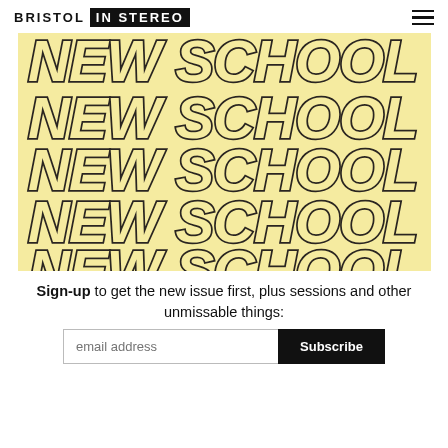BRISTOL IN STEREO
[Figure (illustration): Repeating bold italic outlined text 'NEW SCHOOL' on a yellow/cream background, stacked in multiple rows]
Sign-up to get the new issue first, plus sessions and other unmissable things: